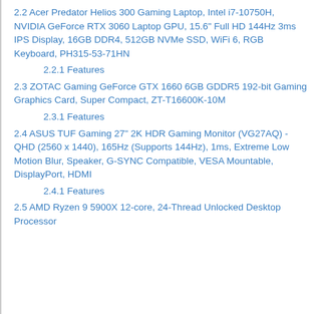2.2 Acer Predator Helios 300 Gaming Laptop, Intel i7-10750H, NVIDIA GeForce RTX 3060 Laptop GPU, 15.6″ Full HD 144Hz 3ms IPS Display, 16GB DDR4, 512GB NVMe SSD, WiFi 6, RGB Keyboard, PH315-53-71HN
2.2.1 Features
2.3 ZOTAC Gaming GeForce GTX 1660 6GB GDDR5 192-bit Gaming Graphics Card, Super Compact, ZT-T16600K-10M
2.3.1 Features
2.4 ASUS TUF Gaming 27″ 2K HDR Gaming Monitor (VG27AQ) - QHD (2560 x 1440), 165Hz (Supports 144Hz), 1ms, Extreme Low Motion Blur, Speaker, G-SYNC Compatible, VESA Mountable, DisplayPort, HDMI
2.4.1 Features
2.5 AMD Ryzen 9 5900X 12-core, 24-Thread Unlocked Desktop Processor